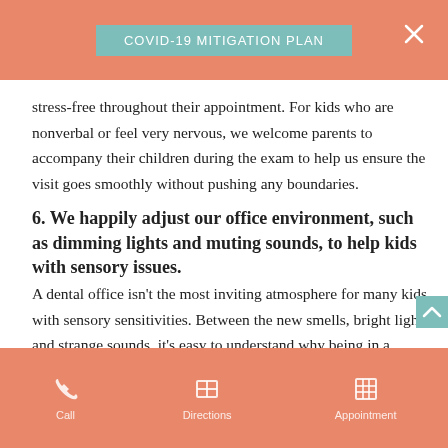COVID-19 MITIGATION PLAN
stress-free throughout their appointment. For kids who are nonverbal or feel very nervous, we welcome parents to accompany their children during the exam to help us ensure the visit goes smoothly without pushing any boundaries.
6. We happily adjust our office environment, such as dimming lights and muting sounds, to help kids with sensory issues.
A dental office isn't the most inviting atmosphere for many kids with sensory sensitivities. Between the new smells, bright lights, and strange sounds, it's easy to understand why being in a dentist's office can begin to feel stressful before the evaluation even begins.
Call   Directions   Appointment